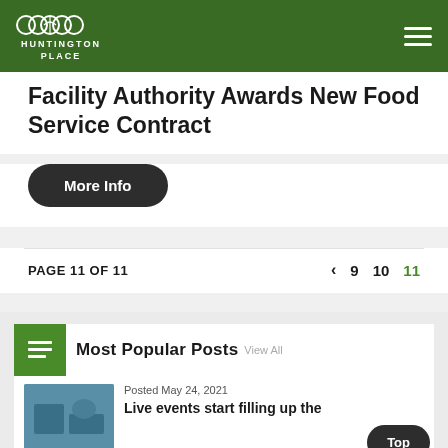HUNTINGTON PLACE
Facility Authority Awards New Food Service Contract
More Info
PAGE 11 OF 11  < 9 10 11
Most Popular Posts
Posted May 24, 2021
Live events start filling up the